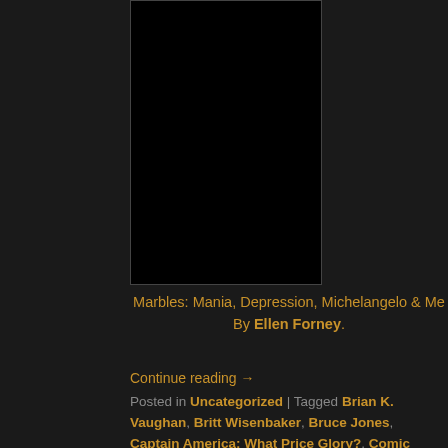[Figure (photo): Large black image placeholder/thumbnail for a book]
Marbles: Mania, Depression, Michelangelo & Me By Ellen Forney.
Continue reading →
Posted in Uncategorized | Tagged Brian K. Vaughan, Britt Wisenbaker, Bruce Jones, Captain America: What Price Glory?, Comic Book, Depression, Don Moore, donmo2re, Dorian Alexander, Ed Piskor, Ellen Forney, Fantastic Four Grand Design, Fiona Staples, George Takei, Harmony